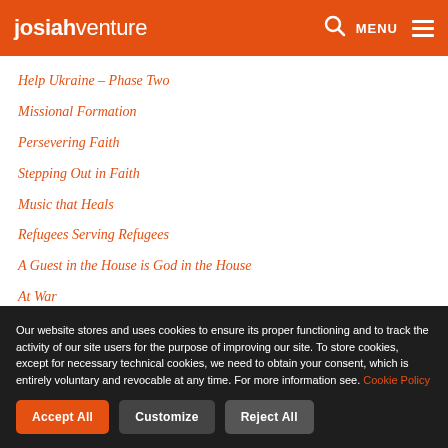josiahventure  MENU
Help Ukraine – Phase Two
Missional Formation
Persevering Faith
Stepping Out in Faith
Music that Heals
Refugees Serving Refugees
A Guest in the House is God in the House
At War
Our website stores and uses cookies to ensure its proper functioning and to track the activity of our site users for the purpose of improving our site. To store cookies, except for necessary technical cookies, we need to obtain your consent, which is entirely voluntary and revocable at any time. For more information see. Cookie Policy
Accept All  Customize  Reject All